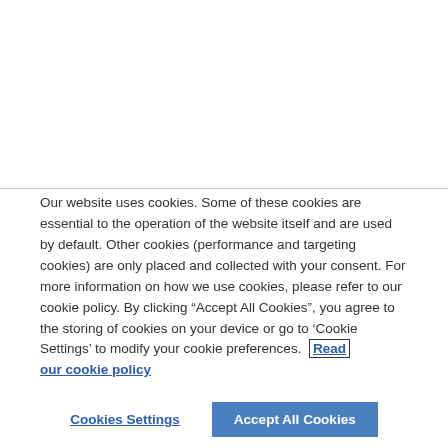Our website uses cookies. Some of these cookies are essential to the operation of the website itself and are used by default. Other cookies (performance and targeting cookies) are only placed and collected with your consent. For more information on how we use cookies, please refer to our cookie policy. By clicking “Accept All Cookies”, you agree to the storing of cookies on your device or go to ‘Cookie Settings’ to modify your cookie preferences. Read our cookie policy
Cookies Settings
Accept All Cookies